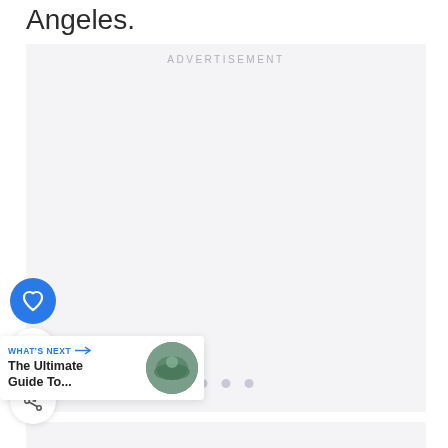Angeles.
[Figure (other): Advertisement placeholder box with 'ADVERTISEMENT' label and three small dots at bottom center]
[Figure (other): Blue circular heart/like button]
1
[Figure (other): White circular share button with share icon]
[Figure (other): What's Next card with label 'WHAT'S NEXT →', title 'The Ultimate Guide To...' and circular image thumbnail]